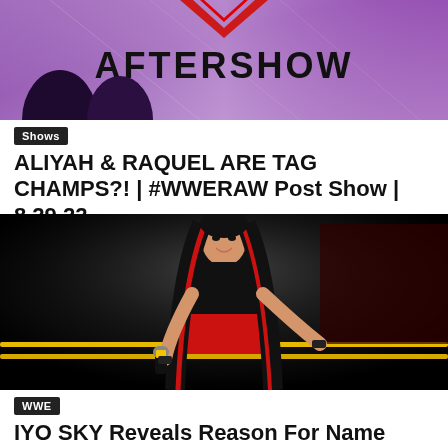[Figure (photo): Purple WWE Aftershow banner with 'AFTERSHOW' text in bold and two silhouetted figures at the bottom, red geometric logo at top]
Shows
ALIYAH & RAQUEL ARE TAG CHAMPS?! | #WWERAW Post Show | 8.29.22
[Figure (photo): IYO SKY (female wrestler) with black top and red skirt, red-streaked black hair, holding a WWE microphone, smiling on a wrestling ring with yellow ropes]
WWE
IYO SKY Reveals Reason For Name Change